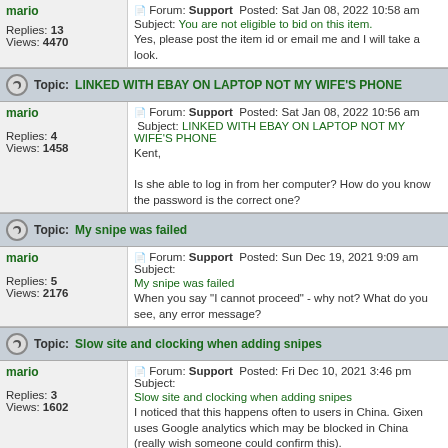Post by mario - Forum: Support Posted: Sat Jan 08, 2022 10:58 am Subject: You are not eligible to bid on this item. Yes, please post the item id or email me and I will take a look. Replies: 13 Views: 4470
Topic: LINKED WITH EBAY ON LAPTOP NOT MY WIFE'S PHONE
Post by mario - Forum: Support Posted: Sat Jan 08, 2022 10:56 am Subject: LINKED WITH EBAY ON LAPTOP NOT MY WIFE'S PHONE - Kent, Is she able to log in from her computer? How do you know the password is the correct one? Replies: 4 Views: 1458
Topic: My snipe was failed
Post by mario - Forum: Support Posted: Sun Dec 19, 2021 9:09 am Subject: My snipe was failed - When you say "I cannot proceed" - why not? What do you see, any error message? Replies: 5 Views: 2176
Topic: Slow site and clocking when adding snipes
Post by mario - Forum: Support Posted: Fri Dec 10, 2021 3:46 pm Subject: Slow site and clocking when adding snipes - I noticed that this happens often to users in China. Gixen uses Google analytics which may be blocked in China (really wish someone could confirm this). The problem happens because the page is neve ... Replies: 3 Views: 1602
Topic: free AND mirror AND backlinks
Post by mario - Forum: Support Posted: Fri Dec 10, 2021 3:43 pm Subject: free AND mirror AND backlinks - It's still offered - login / logout a few times until you see a screen offering this. If you don't see it, please email Replies: 3 Views: 1574